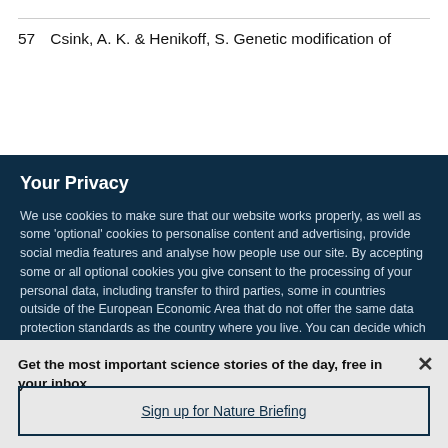57  Csink, A. K. & Henikoff, S. Genetic modification of
Your Privacy
We use cookies to make sure that our website works properly, as well as some 'optional' cookies to personalise content and advertising, provide social media features and analyse how people use our site. By accepting some or all optional cookies you give consent to the processing of your personal data, including transfer to third parties, some in countries outside of the European Economic Area that do not offer the same data protection standards as the country where you live. You can decide which optional cookies to accept by clicking on 'Manage Settings', where you can
Get the most important science stories of the day, free in your inbox.
Sign up for Nature Briefing